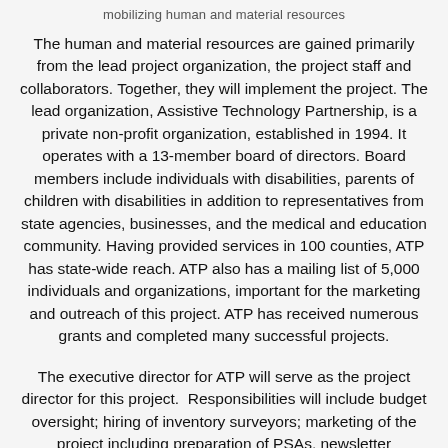mobilizing human and material resources
The human and material resources are gained primarily from the lead project organization, the project staff and collaborators. Together, they will implement the project. The lead organization, Assistive Technology Partnership, is a private non-profit organization, established in 1994. It operates with a 13-member board of directors. Board members include individuals with disabilities, parents of children with disabilities in addition to representatives from state agencies, businesses, and the medical and education community. Having provided services in 100 counties, ATP has state-wide reach. ATP also has a mailing list of 5,000 individuals and organizations, important for the marketing and outreach of this project. ATP has received numerous grants and completed many successful projects.
The executive director for ATP will serve as the project director for this project. Responsibilities will include budget oversight; hiring of inventory surveyors; marketing of the project including preparation of PSAs, newsletter